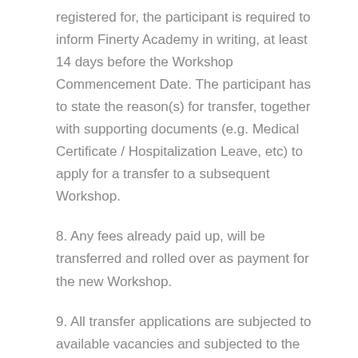registered for, the participant is required to inform Finerty Academy in writing, at least 14 days before the Workshop Commencement Date. The participant has to state the reason(s) for transfer, together with supporting documents (e.g. Medical Certificate / Hospitalization Leave, etc) to apply for a transfer to a subsequent Workshop.
8. Any fees already paid up, will be transferred and rolled over as payment for the new Workshop.
9. All transfer applications are subjected to available vacancies and subjected to the approval of Finerty Academy Pte Ltd. All decisions by Finerty Academy are considered final.